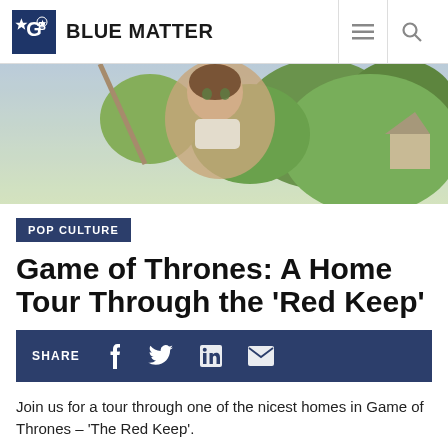Blue Matter
[Figure (photo): A young girl on a swing outdoors with trees in background]
POP CULTURE
Game of Thrones: A Home Tour Through the ‘Red Keep’
SHARE
Join us for a tour through one of the nicest homes in Game of Thrones – ‘The Red Keep’.